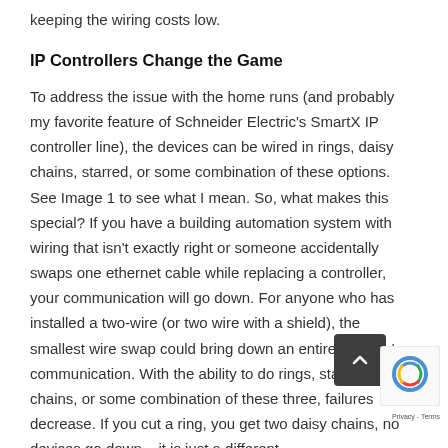keeping the wiring costs low.
IP Controllers Change the Game
To address the issue with the home runs (and probably my favorite feature of Schneider Electric's SmartX IP controller line), the devices can be wired in rings, daisy chains, starred, or some combination of these options. See Image 1 to see what I mean. So, what makes this special? If you have a building automation system with wiring that isn't exactly right or someone accidentally swaps one ethernet cable while replacing a controller, your communication will go down. For anyone who has installed a two-wire (or two wire with a shield), the smallest wire swap could bring down an entire building's communication. With the ability to do rings, stars, daisy chains, or some combination of these three, failures decrease. If you cut a ring, you get two daisy chains, no devices go down – it is just a different